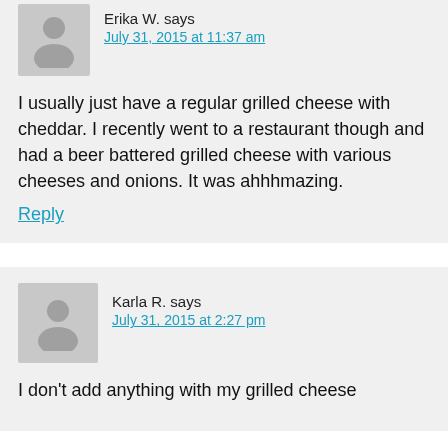Erika W. says
July 31, 2015 at 11:37 am
I usually just have a regular grilled cheese with cheddar. I recently went to a restaurant though and had a beer battered grilled cheese with various cheeses and onions. It was ahhhmazing.
Reply
Karla R. says
July 31, 2015 at 2:27 pm
I don't add anything with my grilled cheese